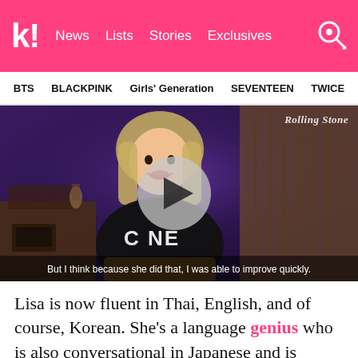k! News Lists Stories Exclusives
BTS BLACKPINK Girls' Generation SEVENTEEN TWICE
[Figure (screenshot): Video thumbnail showing a young woman with blonde hair sitting in a room with purple lighting, wearing a black sparkly outfit with CELINE text visible. A play button overlay is centered on the image. Rolling Stone logo appears in top-right. Subtitle reads: But I think because she did that, I was able to improve quickly.]
Lisa is now fluent in Thai, English, and of course, Korean. She's a language genius who is also conversational in Japanese and is currently learning Mandarin.